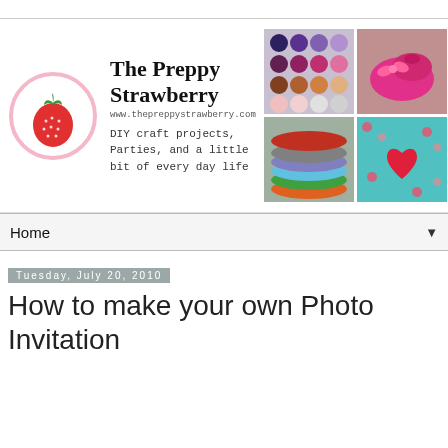[Figure (logo): The Preppy Strawberry blog banner with strawberry logo, website URL, and description text, plus four thumbnail photos of crafts]
Home
Tuesday, July 20, 2010
How to make your own Photo Invitation